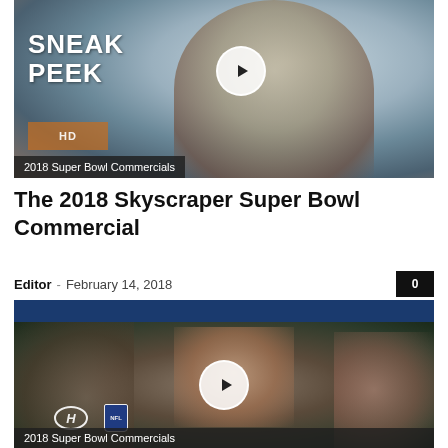[Figure (screenshot): Video thumbnail for 2018 Skyscraper Super Bowl Commercial showing a man with 'SNEAK PEEK' text overlay and a play button. Label bar reads '2018 Super Bowl Commercials'.]
The 2018 Skyscraper Super Bowl Commercial
Editor - February 14, 2018
[Figure (screenshot): Video thumbnail for a 2018 Super Bowl Commercial featuring Hyundai and NFL logos, showing a smiling woman with glasses and a play button. Dark blue header bar at top. Label bar reads '2018 Super Bowl Commercials'.]